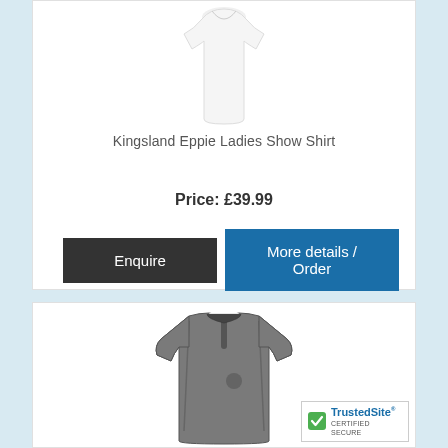[Figure (photo): White sleeveless ladies show shirt product photo]
Kingsland Eppie Ladies Show Shirt
Price: £39.99
Enquire
More details / Order
[Figure (photo): Grey quarter-zip fleece/sweatshirt product photo]
[Figure (logo): TrustedSite Certified Secure badge]